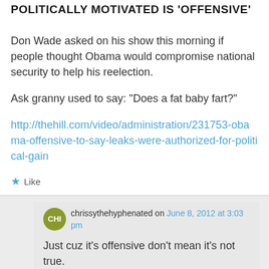POLITICALLY MOTIVATED IS 'OFFENSIVE'
Don Wade asked on his show this morning if people thought Obama would compromise national security to help his reelection.
Ask granny used to say: “Does a fat baby fart?”
http://thehill.com/video/administration/231753-obama-offensive-to-say-leaks-were-authorized-for-political-gain
★ Like
chrissythehyphenated on June 8, 2012 at 3:03 pm
Just cuz it’s offensive don’t mean it’s not true.
★ Like